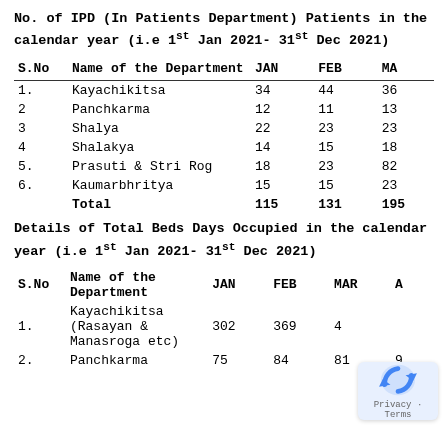No. of IPD (In Patients Department) Patients in the calendar year (i.e 1st Jan 2021- 31st Dec 2021)
| S.No | Name of the Department | JAN | FEB | MA... |
| --- | --- | --- | --- | --- |
| 1. | Kayachikitsa | 34 | 44 | 36 |
| 2 | Panchkarma | 12 | 11 | 13 |
| 3 | Shalya | 22 | 23 | 23 |
| 4 | Shalakya | 14 | 15 | 18 |
| 5. | Prasuti & Stri Rog | 18 | 23 | 82 |
| 6. | Kaumarbhritya | 15 | 15 | 23 |
|  | Total | 115 | 131 | 195 |
Details of Total Beds Days Occupied in the calendar year (i.e 1st Jan 2021- 31st Dec 2021)
| S.No | Name of the Department | JAN | FEB | MAR | A... |
| --- | --- | --- | --- | --- | --- |
| 1. | Kayachikitsa (Rasayan & Manasroga etc) | 302 | 369 | 4... |  |
| 2. | Panchkarma | 75 | 84 | 81 | 9... |